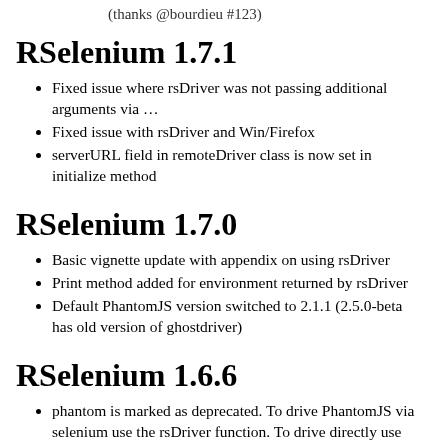(thanks @bourdieu #123)
RSelenium 1.7.1
Fixed issue where rsDriver was not passing additional arguments via …
Fixed issue with rsDriver and Win/Firefox
serverURL field in remoteDriver class is now set in initialize method
RSelenium 1.7.0
Basic vignette update with appendix on using rsDriver
Print method added for environment returned by rsDriver
Default PhantomJS version switched to 2.1.1 (2.5.0-beta has old version of ghostdriver)
RSelenium 1.6.6
phantom is marked as deprecated. To drive PhantomJS via selenium use the rsDriver function. To drive directly use